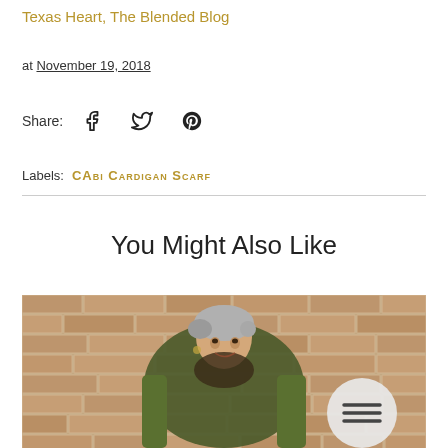Texas Heart, The Blended Blog
at November 19, 2018
Share:  [facebook] [twitter] [pinterest]
Labels:  CAbi Cardigan Scarf
You Might Also Like
[Figure (photo): Woman with short gray hair wearing a green cardigan and patterned scarf, leaning against a brick wall, smiling. A circular menu button overlay appears in the bottom right corner.]